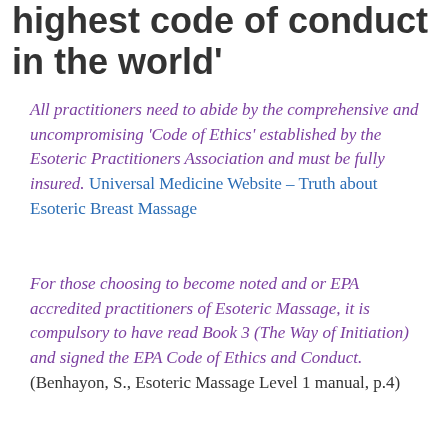highest code of conduct in the world'
All practitioners need to abide by the comprehensive and uncompromising 'Code of Ethics' established by the Esoteric Practitioners Association and must be fully insured. Universal Medicine Website – Truth about Esoteric Breast Massage
For those choosing to become noted and or EPA accredited practitioners of Esoteric Massage, it is compulsory to have read Book 3 (The Way of Initiation) and signed the EPA Code of Ethics and Conduct. (Benhayon, S., Esoteric Massage Level 1 manual, p.4)